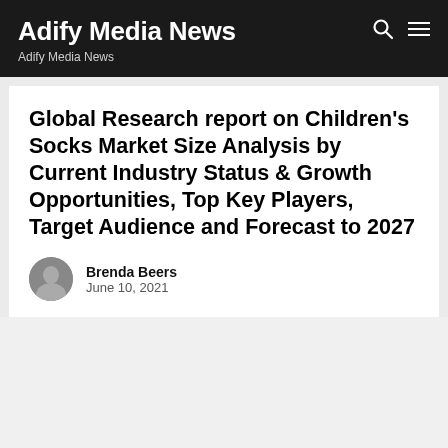Adify Media News
Adify Media News
Global Research report on Children's Socks Market Size Analysis by Current Industry Status & Growth Opportunities, Top Key Players, Target Audience and Forecast to 2027
Brenda Beers
June 10, 2021